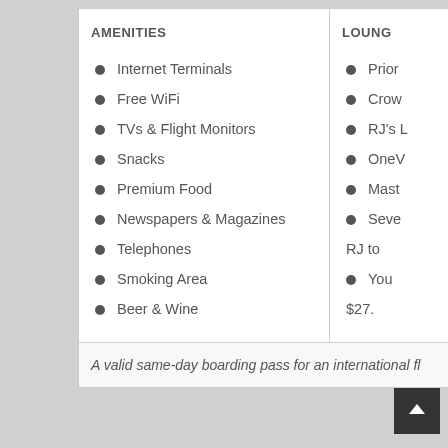AMENITIES
Internet Terminals
Free WiFi
TVs & Flight Monitors
Snacks
Premium Food
Newspapers & Magazines
Telephones
Smoking Area
Beer & Wine
LOUNG
Prior
Crow
RJ's L
OneV
Mast
Seve
RJ to
You
$27.
A valid same-day boarding pass for an international fl